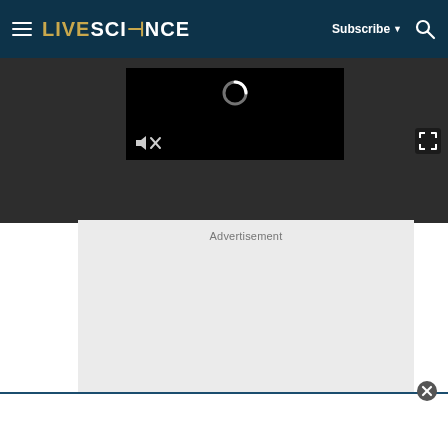Live Science — Subscribe — Search
[Figure (screenshot): Video player with black background, loading circle spinner, and mute (speaker with X) icon in bottom-left corner]
[Figure (screenshot): Expand/fullscreen icon (arrows pointing outward) in top-right of video bar]
Advertisement
[Figure (other): Light gray advertisement placeholder box]
[Figure (other): Close button circle with X at bottom-right of advertisement overlay]